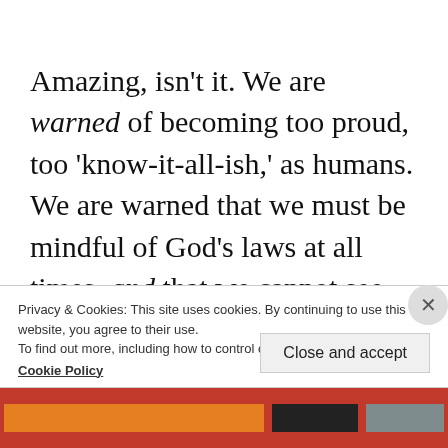Amazing, isn't it. We are warned of becoming too proud, too 'know-it-all-ish,' as humans. We are warned that we must be mindful of God's laws at all times, and that we cannot see our own errors. We all have blind spots; like placing all our faith on a literal reading of an ancient creation myth,
Privacy & Cookies: This site uses cookies. By continuing to use this website, you agree to their use.
To find out more, including how to control cookies, see here:
Cookie Policy
Close and accept